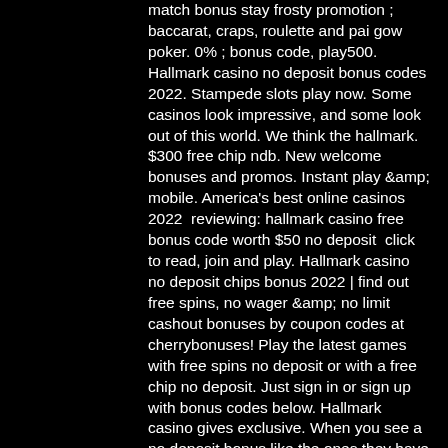match bonus stay frosty promotion ; baccarat, craps, roulette and pai gow poker. 0% ; bonus code, play500. Hallmark casino no deposit bonus codes 2022. Stampede slots play now. Some casinos look impressive, and some look out of this world. We think the hallmark. $300 free chip ndb. New welcome bonuses and promos. Instant play &amp; mobile. America's best online casinos 2022  reviewing: hallmark casino free bonus code worth $50 no deposit  click to read, join and play. Hallmark casino no deposit chips bonus 2022 | find out free spins, no wager &amp; no limit cashout bonuses by coupon codes at cherrybonuses! Play the latest games with free spins no deposit or with a free chip no deposit. Just sign in or sign up with bonus codes below. Hallmark casino gives exclusive. When you see a no deposit bonus like the ones they have at hallmark casino in 2022, you will want to take advantage of it right away. Does